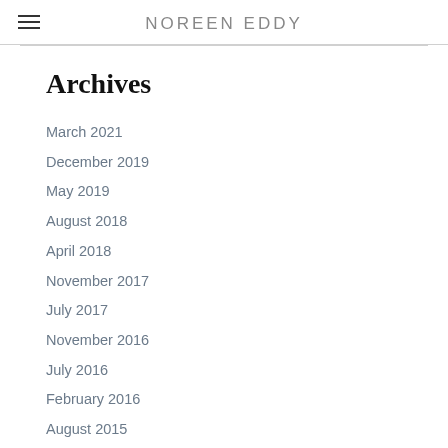NOREEN EDDY
Archives
March 2021
December 2019
May 2019
August 2018
April 2018
November 2017
July 2017
November 2016
July 2016
February 2016
August 2015
May 2015
December 2014
September 2014
July 2014
April 2014